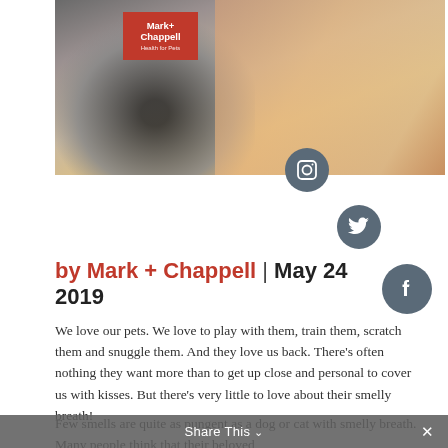[Figure (photo): Photo banner showing a blonde woman holding a dog close to her face, with a Mark + Chappell logo overlay in the top-left corner]
by Mark + Chappell  | May 24 2019
We love our pets. We love to play with them, train them, scratch them and snuggle them. And they love us back. There's often nothing they want more than to get up close and personal to cover us with kisses. But there's very little to love about their smelly breath!
Few smells are quite as pungent as a dog or cat with smelly breath. Many people think that their beloved